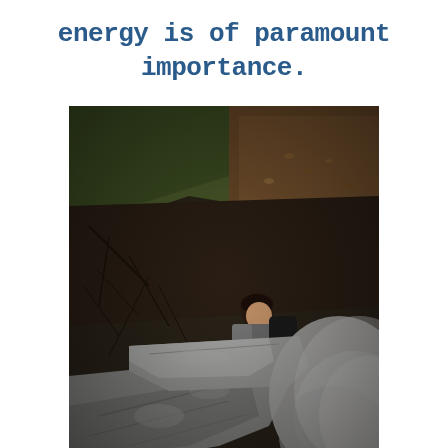energy is of paramount importance.
[Figure (photo): A person wearing a backpack climbing over large rocky terrain with a hillside covered in sparse dry vegetation and fallen leaves in the background.]